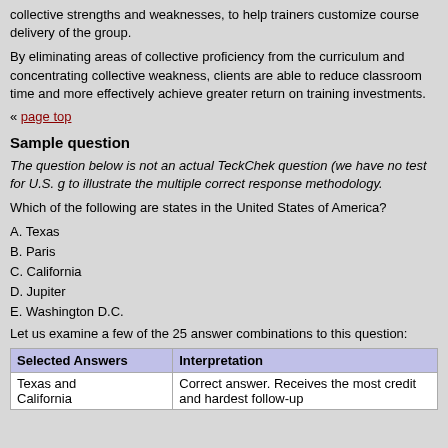collective strengths and weaknesses, to help trainers customize course delivery of the group.
By eliminating areas of collective proficiency from the curriculum and concentrating collective weakness, clients are able to reduce classroom time and more effectively achieve greater return on training investments.
« page top
Sample question
The question below is not an actual TeckChek question (we have no test for U.S. g to illustrate the multiple correct response methodology.
Which of the following are states in the United States of America?
A. Texas
B. Paris
C. California
D. Jupiter
E. Washington D.C.
Let us examine a few of the 25 answer combinations to this question:
| Selected Answers | Interpretation |
| --- | --- |
| Texas and California | Correct answer. Receives the most credit and hardest follow-up |